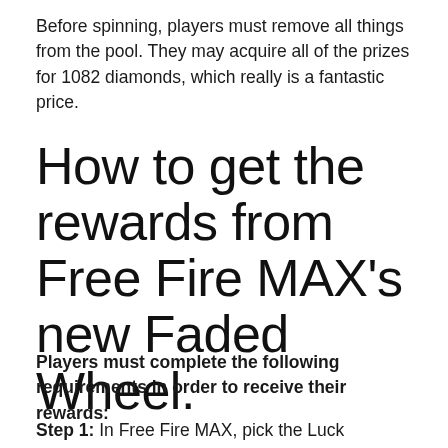Before spinning, players must remove all things from the pool. They may acquire all of the prizes for 1082 diamonds, which really is a fantastic price.
How to get the rewards from Free Fire MAX's new Faded Wheel.
Players must complete the following requirements in order to receive their rewards:
Step 1: In Free Fire MAX, pick the Luck